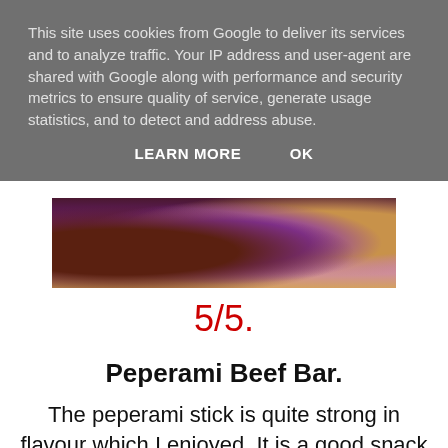This site uses cookies from Google to deliver its services and to analyze traffic. Your IP address and user-agent are shared with Google along with performance and security metrics to ensure quality of service, generate usage statistics, and to detect and address abuse.
LEARN MORE   OK
[Figure (photo): Close-up photo of spices/powders in shades of brown, purple and golden/tan]
5/5.
Peperami Beef Bar.
The peperami stick is quite strong in flavour which I enjoyed. It is a good snack to have that fills you up and the fact that Peperami is only 69 calories per